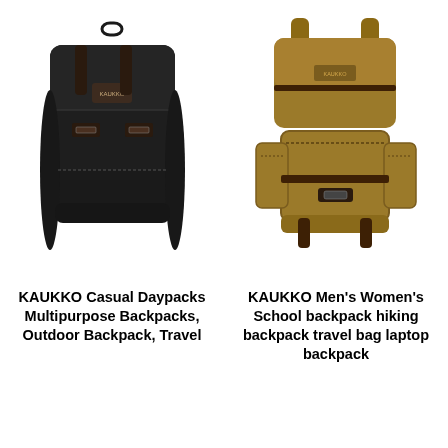[Figure (photo): Black canvas KAUKKO backpack with brown leather buckle straps, front view on white background]
[Figure (photo): Brown/tan canvas KAUKKO hiking backpack with multiple pockets and brown leather straps, front view on white background]
KAUKKO Casual Daypacks Multipurpose Backpacks, Outdoor Backpack, Travel
KAUKKO Men's Women's School backpack hiking backpack travel bag laptop backpack